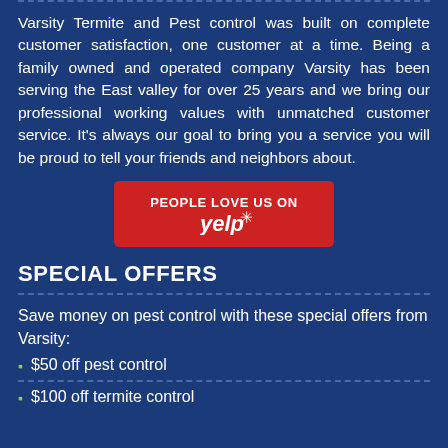Varsity Termite and Pest control was built on complete customer satisfaction, one customer at a time. Being a family owned and operated company Varsity has been serving the East valley for over 25 years and we bring our professional working values with unmatched customer service. It's always our goal to bring you a service you will be proud to tell your friends and neighbors about.
[Figure (logo): Red Yelp button with text 'PEOPLE LOVE US ON yelp*']
SPECIAL OFFERS
Save money on pest control with these special offers from Varsity:
$50 off pest control
$100 off termite control